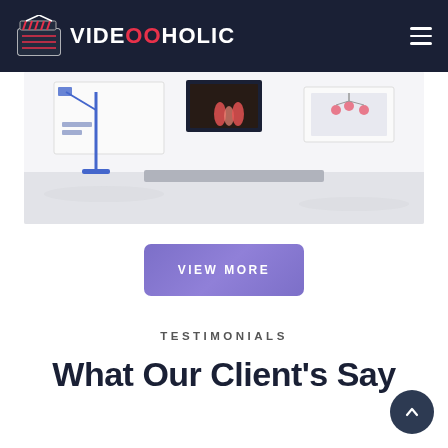VIDEOO HOLIC
[Figure (illustration): Animated/illustrated interior scene showing a room with a floor lamp, furniture and wall decorations, partially visible below the navigation bar.]
VIEW MORE
TESTIMONIALS
What Our Client's Say